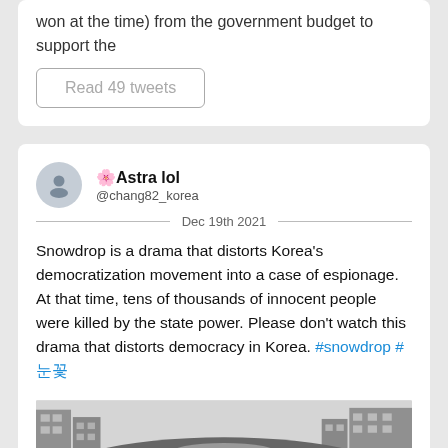won at the time) from the government budget to support the
Read 49 tweets
🌸Astra lol @chang82_korea
Dec 19th 2021
Snowdrop is a drama that distorts Korea's democratization movement into a case of espionage. At that time, tens of thousands of innocent people were killed by the state power. Please don't watch this drama that distorts democracy in Korea. #snowdrop #눈꽃
[Figure (photo): Black and white historical photograph showing a massive crowd of protesters filling a wide city street, with buildings visible on both sides.]